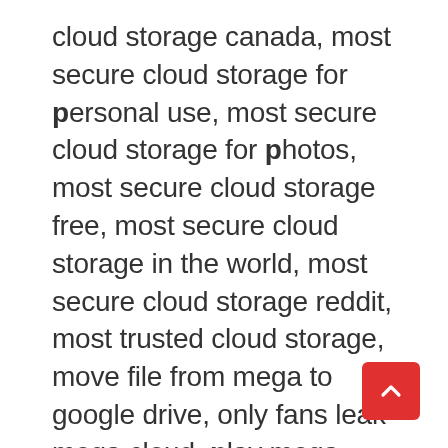cloud storage canada, most secure cloud storage for personal use, most secure cloud storage for photos, most secure cloud storage free, most secure cloud storage in the world, most secure cloud storage reddit, most trusted cloud storage, move file from mega to google drive, only fans leak mega cloud, play mega cloud media kodi, player mi música de mega cloud, recovery key for mega, review mega cloud storage, security of mega cloud service, should i trust mega cloud storage, telekom mega cloud login, the most trusted best-protected cloud storage - mega, top 3 cloud storage providers, transfer data from mega google drive, transfer mega to google drive with desktop, transfer mega to google drive